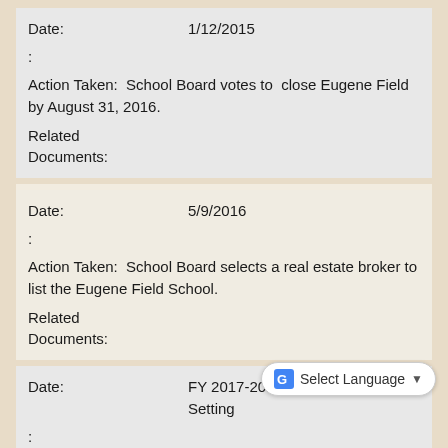Date:  1/12/2015
:
Action Taken:  School Board votes to  close Eugene Field by August 31, 2016.
Related Documents:
Date:  5/9/2016
:
Action Taken:  School Board selects a real estate broker to list the Eugene Field School.
Related Documents:
Date:  FY 2017-2018 City Council Goal Setting
:
Action Taken:  The City Council renewed a long-term goal